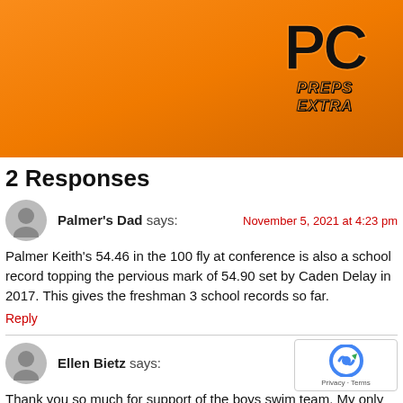[Figure (logo): PC Preps Extra logo on orange banner background]
2 Responses
Palmer's Dad says: November 5, 2021 at 4:23 pm
Palmer Keith's 54.46 in the 100 fly at conference is also a school record topping the pervious mark of 54.90 set by Caden Delay in 2017. This gives the freshman 3 school records so far.
Reply
Ellen Bietz says: November 7, 202...
Thank you so much for support of the boys swim team. My only critique